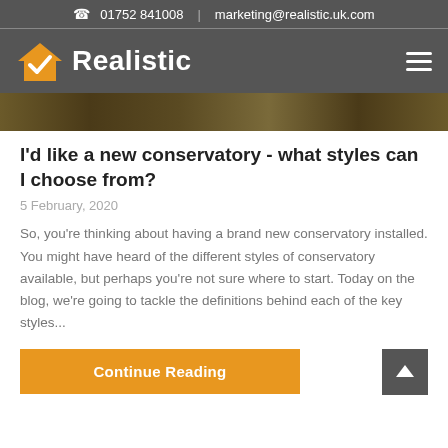01752 841008 | marketing@realistic.uk.com
[Figure (logo): Realistic logo with orange house/checkmark icon and white bold text 'Realistic' on dark grey background, with hamburger menu icon on the right]
[Figure (photo): Partial hero image strip showing an outdoor scene, brown/earthy tones]
I'd like a new conservatory - what styles can I choose from?
5 February, 2020
So, you're thinking about having a brand new conservatory installed. You might have heard of the different styles of conservatory available, but perhaps you're not sure where to start. Today on the blog, we're going to tackle the definitions behind each of the key styles...
Continue Reading